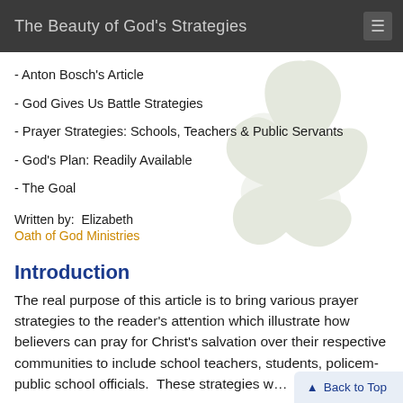The Beauty of God's Strategies
- Anton Bosch's Article
- God Gives Us Battle Strategies
- Prayer Strategies: Schools, Teachers & Public Servants
- God's Plan: Readily Available
- The Goal
Written by:  Elizabeth
Oath of God Ministries
Introduction
The real purpose of this article is to bring various prayer strategies to the reader's attention which illustrate how believers can pray for Christ's salvation over their respective communities to include school teachers, students, policem... public school officials.  These strategies w...